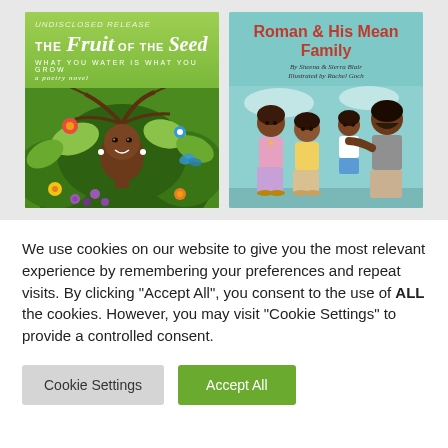[Figure (illustration): Book cover for 'The Fruit of the Seed: What You Water Is What You Grow, A Poetry Novel' featuring a woman with tree branches as hair surrounded by colorful flowers and green foliage]
[Figure (illustration): Book cover for 'Roman & His Mean Family' by Sheena & Sierra Blair, illustrated by Rachel Goch, showing a family of four illustrated characters]
We use cookies on our website to give you the most relevant experience by remembering your preferences and repeat visits. By clicking “Accept All”, you consent to the use of ALL the cookies. However, you may visit "Cookie Settings" to provide a controlled consent.
Cookie Settings
Accept All